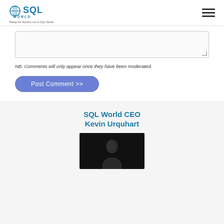SQL World — Taking the Mystery out of SQL Server
[Figure (screenshot): Comment textarea input box (empty)]
NB: Comments will only appear once they have been moderated.
[Figure (other): Post Comment >> button, blue rounded pill shape]
SQL World CEO
Kevin Urquhart
[Figure (photo): Black and white photo of Kevin Urquhart, showing a partial silhouette/figure against dark background]